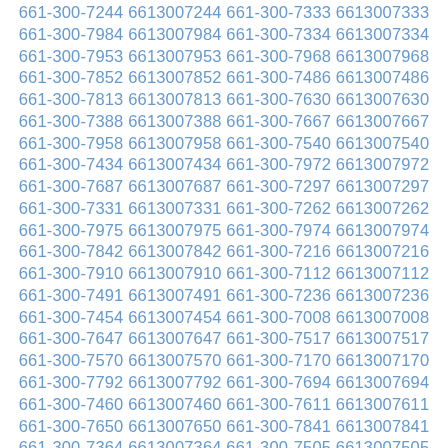661-300-7244 6613007244 661-300-7333 6613007333
661-300-7984 6613007984 661-300-7334 6613007334
661-300-7953 6613007953 661-300-7968 6613007968
661-300-7852 6613007852 661-300-7486 6613007486
661-300-7813 6613007813 661-300-7630 6613007630
661-300-7388 6613007388 661-300-7667 6613007667
661-300-7958 6613007958 661-300-7540 6613007540
661-300-7434 6613007434 661-300-7972 6613007972
661-300-7687 6613007687 661-300-7297 6613007297
661-300-7331 6613007331 661-300-7262 6613007262
661-300-7975 6613007975 661-300-7974 6613007974
661-300-7842 6613007842 661-300-7216 6613007216
661-300-7910 6613007910 661-300-7112 6613007112
661-300-7491 6613007491 661-300-7236 6613007236
661-300-7454 6613007454 661-300-7008 6613007008
661-300-7647 6613007647 661-300-7517 6613007517
661-300-7570 6613007570 661-300-7170 6613007170
661-300-7792 6613007792 661-300-7694 6613007694
661-300-7460 6613007460 661-300-7611 6613007611
661-300-7650 6613007650 661-300-7841 6613007841
661-300-7364 6613007364 661-300-7505 6613007505
661-300-7932 6613007932 661-300-7814 6613007814
661-300-7960 6613007960 661-300-7838 6613007838
661-300-7985 6613007985 661-300-7897 6613007897
661-300-7722 6613007722 661-300-7072 6613007072
661-300-7934 6613007934 661-300-7966 6613007966